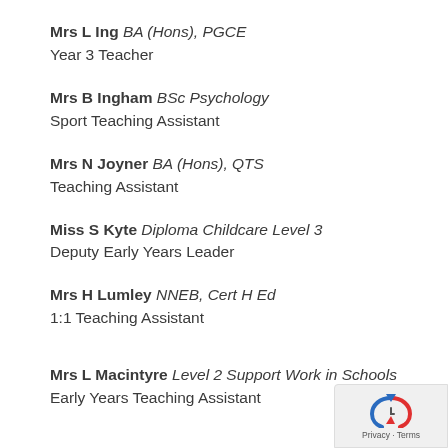Mrs L Ing BA (Hons), PGCE
Year 3 Teacher
Mrs B Ingham BSc Psychology
Sport Teaching Assistant
Mrs N Joyner BA (Hons), QTS
Teaching Assistant
Miss S Kyte Diploma Childcare Level 3
Deputy Early Years Leader
Mrs H Lumley NNEB, Cert H Ed
1:1 Teaching Assistant
Mrs L Macintyre Level 2 Support Work in Schools
Early Years Teaching Assistant